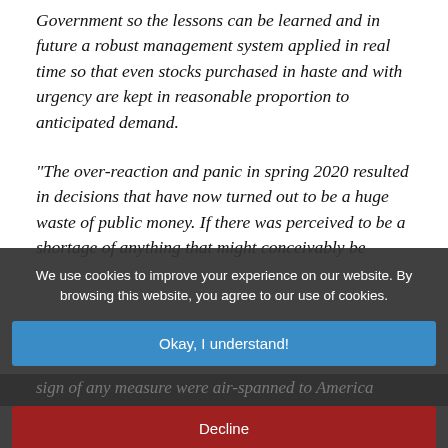Government so the lessons can be learned and in future a robust management system applied in real time so that even stocks purchased in haste and with urgency are kept in reasonable proportion to anticipated demand.
"The over-reaction and panic in spring 2020 resulted in decisions that have now turned out to be a huge waste of public money. If there was perceived to be a shortage of anything that might conceivably be needed to fulfil the needs of the public emergency, the public...
We use cookies to improve your experience on our website. By browsing this website, you agree to our use of cookies.
Okay, I understand!
Decline
More Info
proving to the public that the Government was 'doing something' about Covid. The result of that...